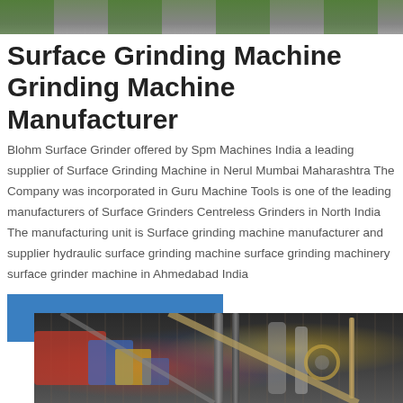[Figure (photo): Top cropped photo of surface grinding machines in a manufacturing setting, showing green machinery and metal components]
Surface Grinding Machine Grinding Machine Manufacturer
Blohm Surface Grinder offered by Spm Machines India a leading supplier of Surface Grinding Machine in Nerul Mumbai Maharashtra The Company was incorporated in Guru Machine Tools is one of the leading manufacturers of Surface Grinders Centreless Grinders in North India The manufacturing unit is Surface grinding machine manufacturer and supplier hydraulic surface grinding machine surface grinding machinery surface grinder machine in Ahmedabad India
CONTACT NOW
[Figure (photo): Bottom photo showing close-up of surface grinding machine parts including colorful components in red, blue, yellow and metal rods/pipes]